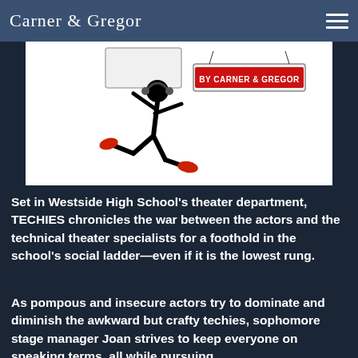Carner & Gregor
[Figure (illustration): Cartoon illustration of a stick-figure character running/leaping while holding a sign that says 'BY CARNER & GREGOR'. The figure wears red shoes and has a black body against a white background.]
Set in Westside High School's theater department, TECHIES chronicles the war between the actors and the technical theater specialists for a foothold in the school's social ladder—even if it is the lowest rung.
As pompous and insecure actors try to dominate and diminish the awkward but crafty techies, sophomore stage manager Joan strives to keep everyone on speaking terms, all while pursuing